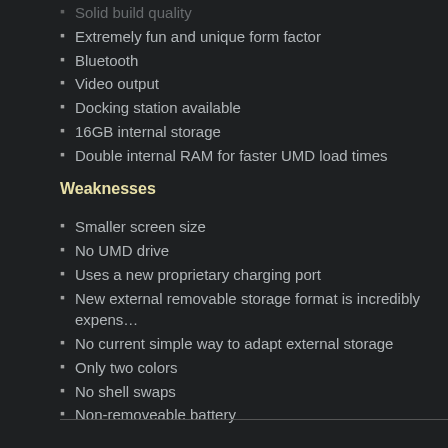Solid build quality
Extremely fun and unique form factor
Bluetooth
Video output
Docking station available
16GB internal storage
Double internal RAM for faster UMD load times
Weaknesses
Smaller screen size
No UMD drive
Uses a new proprietary charging port
New external removable storage format is incredibly expens…
No current simple way to adapt external storage
Only two colors
No shell swaps
Non-removeable battery